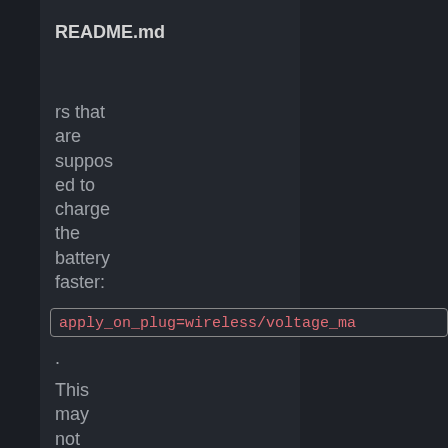README.md
rs that are supposed to charge the battery faster:
apply_on_plug=wireless/voltage_ma
.
This may not work on all Pixel